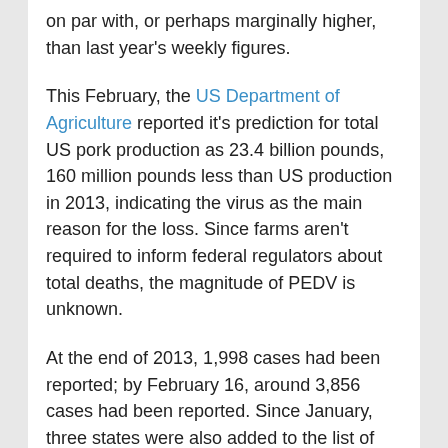on par with, or perhaps marginally higher, than last year's weekly figures.
This February, the US Department of Agriculture reported it's prediction for total US pork production as 23.4 billion pounds, 160 million pounds less than US production in 2013, indicating the virus as the main reason for the loss. Since farms aren't required to inform federal regulators about total deaths, the magnitude of PEDV is unknown.
At the end of 2013, 1,998 cases had been reported; by February 16, around 3,856 cases had been reported. Since January, three states were also added to the list of those affected, totaling in 25. The USDA predicts that US pork prices will jump 2-3% in 2014, a 0.9% increase from 2013.
See also:
Outbreak of deadly piglet virus spreads to 13 states
Mysterious Pork Virus May Hike Bacon Prices
May 10, 2014